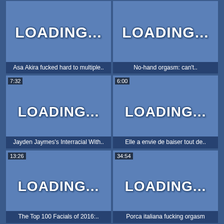[Figure (screenshot): Video thumbnail loading placeholder - Asa Akira fucked hard to multiple..]
[Figure (screenshot): Video thumbnail loading placeholder - No-hand orgasm: can&#039;t..]
[Figure (screenshot): Video thumbnail loading placeholder - 7:32 - Jayden Jaymes's Interracial With..]
[Figure (screenshot): Video thumbnail loading placeholder - 6:00 - Elle a envie de baiser tout de..]
[Figure (screenshot): Video thumbnail loading placeholder - 13:26 - The Top 100 Facials of 2016:..]
[Figure (screenshot): Video thumbnail loading placeholder - 34:54 - Porca italiana fucking orgasm]